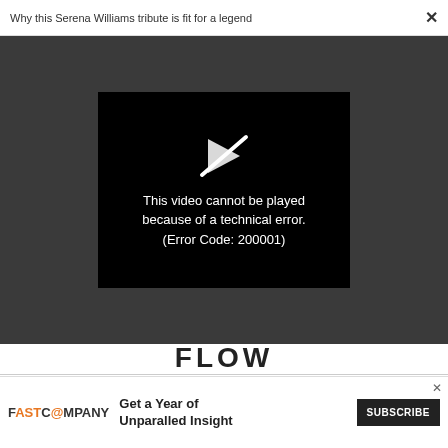Why this Serena Williams tribute is fit for a legend  ×
[Figure (screenshot): Video player showing error message: 'This video cannot be played because of a technical error. (Error Code: 200001)' with a play icon crossed out, on a dark gray background]
FLOW
TECH
Google is teaching robots to think for themselves
TECH
[Figure (screenshot): Advertisement banner: Fast Company - Get a Year of Unparalled Insight - SUBSCRIBE button]